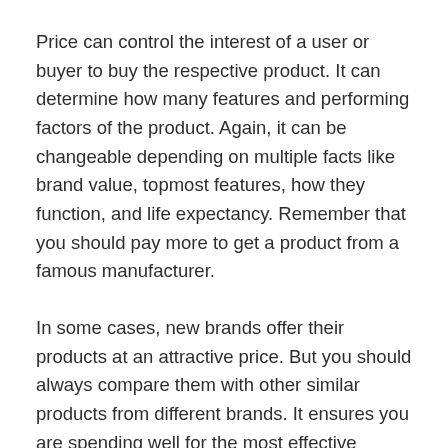Price can control the interest of a user or buyer to buy the respective product. It can determine how many features and performing factors of the product. Again, it can be changeable depending on multiple facts like brand value, topmost features, how they function, and life expectancy. Remember that you should pay more to get a product from a famous manufacturer.
In some cases, new brands offer their products at an attractive price. But you should always compare them with other similar products from different brands. It ensures you are spending well for the most effective outcome. It is beneficial to set and stick to a possible budget and buy the product within that budget.